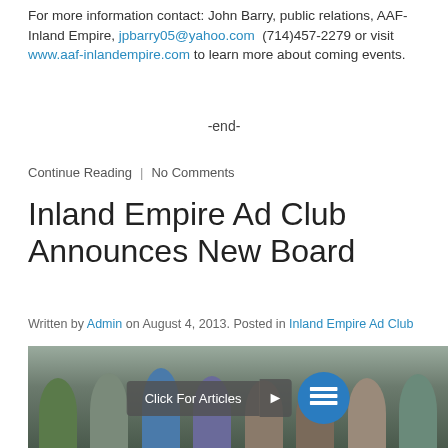For more information contact: John Barry, public relations, AAF-Inland Empire, jpbarry05@yahoo.com  (714)457-2279 or visit www.aaf-inlandempire.com to learn more about coming events.
-end-
Continue Reading  |  No Comments
Inland Empire Ad Club Announces New Board
Written by Admin on August 4, 2013. Posted in Inland Empire Ad Club
[Figure (photo): Group photo of people standing in a room, with a 'Click For Articles' overlay button and an icon circle button]